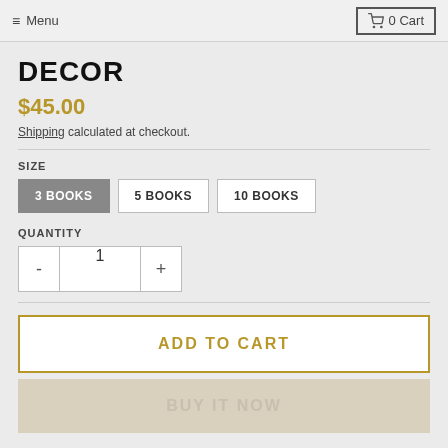Menu  |  0 Cart
DECOR
$45.00
Shipping calculated at checkout.
SIZE
3 BOOKS (selected)
5 BOOKS
10 BOOKS
QUANTITY
- 1 +
ADD TO CART
BUY IT NOW